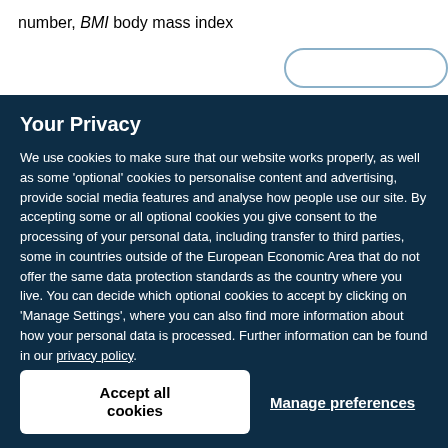number, BMI body mass index
Your Privacy
We use cookies to make sure that our website works properly, as well as some 'optional' cookies to personalise content and advertising, provide social media features and analyse how people use our site. By accepting some or all optional cookies you give consent to the processing of your personal data, including transfer to third parties, some in countries outside of the European Economic Area that do not offer the same data protection standards as the country where you live. You can decide which optional cookies to accept by clicking on 'Manage Settings', where you can also find more information about how your personal data is processed. Further information can be found in our privacy policy.
Accept all cookies
Manage preferences